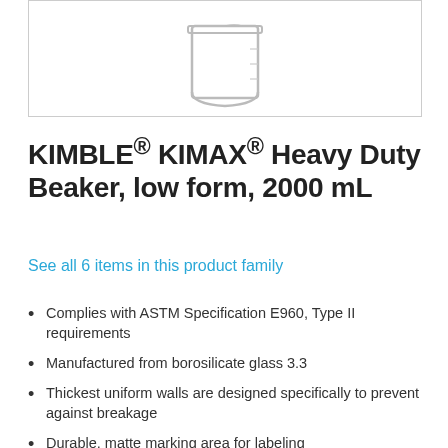[Figure (photo): Product image of a KIMBLE KIMAX Heavy Duty Beaker (2000 mL), low form, shown as a clear glass beaker with wide cylindrical body, slightly visible graduation markings, displayed against a white background inside a light gray border box.]
KIMBLE® KIMAX® Heavy Duty Beaker, low form, 2000 mL
See all 6 items in this product family
Complies with ASTM Specification E960, Type II requirements
Manufactured from borosilicate glass 3.3
Thickest uniform walls are designed specifically to prevent against breakage
Durable, matte marking area for labeling